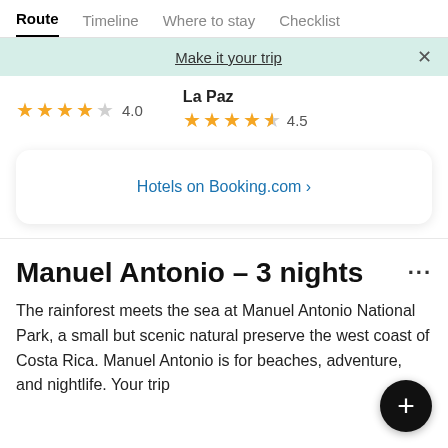Route | Timeline | Where to stay | Checklist
Make it your trip
★★★★☆ 4.0
La Paz
★★★★½ 4.5
Hotels on Booking.com ›
Manuel Antonio – 3 nights
The rainforest meets the sea at Manuel Antonio National Park, a small but scenic natural preserve the west coast of Costa Rica. Manuel Antonio is for beaches, adventure, and nightlife. Your trip